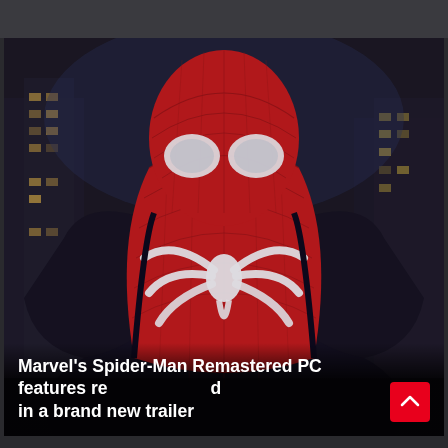[Figure (photo): Marvel's Spider-Man Remastered promotional image showing Spider-Man from behind, wearing the iconic red and blue suit with white spider logo on the back, set against a nighttime New York City skyline backdrop]
Marvel's Spider-Man Remastered PC features revealed in a brand new trailer